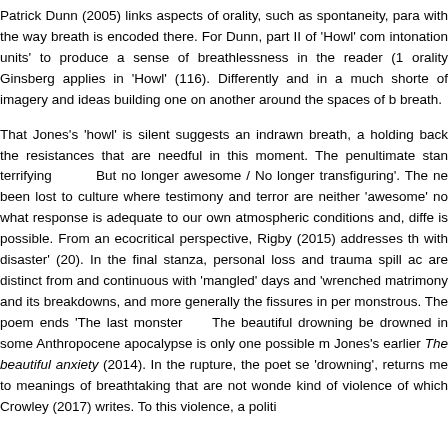Patrick Dunn (2005) links aspects of orality, such as spontaneity, para with the way breath is encoded there. For Dunn, part II of 'Howl' com intonation units' to produce a sense of breathlessness in the reader (1 orality Ginsberg applies in 'Howl' (116). Differently and in a much shorte of imagery and ideas building one on another around the spaces of b breath.

That Jones's 'howl' is silent suggests an indrawn breath, a holding back the resistances that are needful in this moment. The penultimate stan terrifying        But no longer awesome / No longer transfiguring'. The ne been lost to culture where testimony and terror are neither 'awesome' no what response is adequate to our own atmospheric conditions and, diffe is possible. From an ecocritical perspective, Rigby (2015) addresses th with disaster' (20). In the final stanza, personal loss and trauma spill ac are distinct from and continuous with 'mangled' days and 'wrenched matrimony and its breakdowns, and more generally the fissures in per monstrous. The poem ends 'The last monster     The beautiful drowning be drowned in some Anthropocene apocalypse is only one possible m Jones's earlier The beautiful anxiety (2014). In the rupture, the poet se 'drowning', returns me to meanings of breathtaking that are not wonde kind of violence of which Crowley (2017) writes. To this violence, a politi